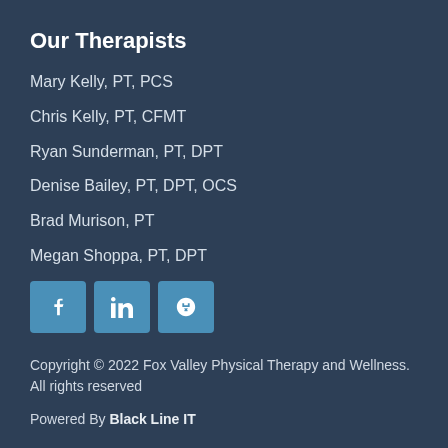Our Therapists
Mary Kelly, PT, PCS
Chris Kelly, PT, CFMT
Ryan Sunderman, PT, DPT
Denise Bailey, PT, DPT, OCS
Brad Murison, PT
Megan Shoppa, PT, DPT
[Figure (infographic): Three social media icon buttons: Facebook (f), LinkedIn (in), Yelp (*)]
Copyright © 2022 Fox Valley Physical Therapy and Wellness. All rights reserved
Powered By Black Line IT